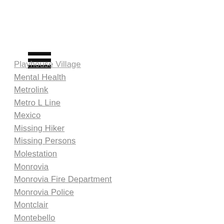[Figure (other): Hamburger menu icon with three horizontal black bars]
Playhouse Village
Mental Health
Metrolink
Metro L Line
Mexico
Missing Hiker
Missing Persons
Molestation
Monrovia
Monrovia Fire Department
Monrovia Police
Montclair
Montebello
Montebello Fire Department
Montebello Police
Monterey Park
Monterey Park Fire Department
Monterey Park Police
Montrose